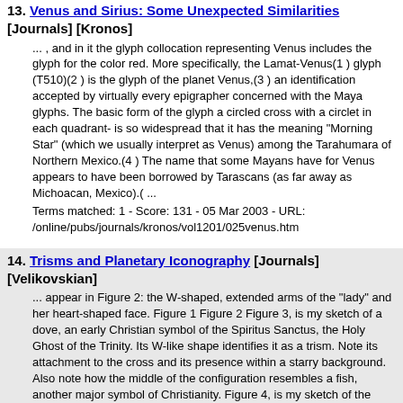13. Venus and Sirius: Some Unexpected Similarities [Journals] [Kronos]
... , and in it the glyph collocation representing Venus includes the glyph for the color red. More specifically, the Lamat-Venus(1 ) glyph (T510)(2 ) is the glyph of the planet Venus,(3 ) an identification accepted by virtually every epigrapher concerned with the Maya glyphs. The basic form of the glyph a circled cross with a circlet in each quadrant- is so widespread that it has the meaning "Morning Star" (which we usually interpret as Venus) among the Tarahumara of Northern Mexico.(4 ) The name that some Mayans have for Venus appears to have been borrowed by Tarascans (as far away as Michoacan, Mexico).( ...
Terms matched: 1  -  Score: 131  -  05 Mar 2003  -  URL: /online/pubs/journals/kronos/vol1201/025venus.htm
14. Trisms and Planetary Iconography [Journals] [Velikovskian]
... appear in Figure 2: the W-shaped, extended arms of the "lady" and her heart-shaped face. Figure 1 Figure 2 Figure 3, is my sketch of a dove, an early Christian symbol of the Spiritus Sanctus, the Holy Ghost of the Trinity. Its W-like shape identifies it as a trism. Note its attachment to the cross and its presence within a starry background. Also note how the middle of the configuration resembles a fish, another major symbol of Christianity. Figure 4, is my sketch of the Hindu deity, Vishnu, incarnated as the god Krishna. In his right hand, Krishna holds a device that ends in a trism. In many works ...
Terms matched: 1  -  Score: 130  -  05 Mar 2003  -  URL: /online/pubs/journals/velikov/vol0202/trisms.htm
15. As the Cross of the Cardinal Points [Books]